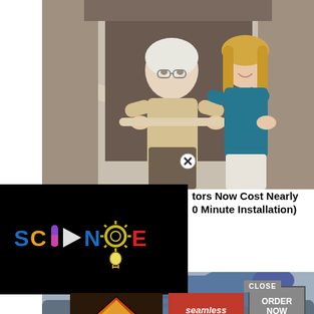[Figure (photo): Elderly woman holding a stair rail/walker bar on a staircase, assisted by a younger woman in a teal blouse behind her. Indoor stairway setting.]
[Figure (screenshot): Science channel video overlay with colorful SCIENCE logo (play button as the I) on black background]
tors Now Cost Nearly 0 Minute Installation)
[Figure (photo): Person lying face-down on a couch/sofa, wearing jeans. Bottom portion of an advertisement page.]
[Figure (screenshot): Seamless food delivery advertisement with pizza image, Seamless logo in red, ORDER NOW button, and CLOSE button]
CLOSE
seamless
ORDER NOW